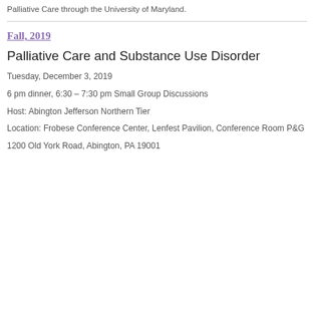Palliative Care through the University of Maryland.
Fall, 2019
Palliative Care and Substance Use Disorder
Tuesday, December 3, 2019
6 pm dinner, 6:30 – 7:30 pm Small Group Discussions
Host: Abington Jefferson Northern Tier
Location:  Frobese Conference Center, Lenfest Pavilion, Conference Room P&G
1200 Old York Road, Abington, PA  19001